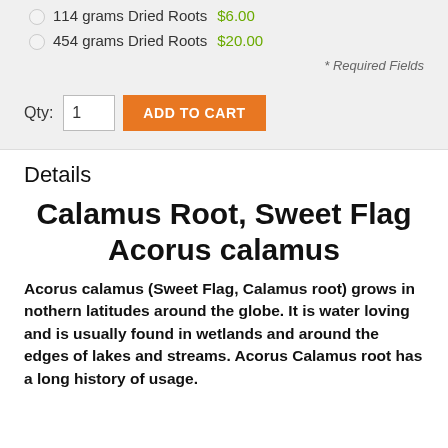114 grams Dried Roots  $6.00
454 grams Dried Roots  $20.00
* Required Fields
Qty: 1  ADD TO CART
Details
Calamus Root, Sweet Flag Acorus calamus
Acorus calamus (Sweet Flag, Calamus root) grows in nothern latitudes around the globe. It is water loving and is usually found in wetlands and around the edges of lakes and streams. Acorus Calamus root has a long history of usage.